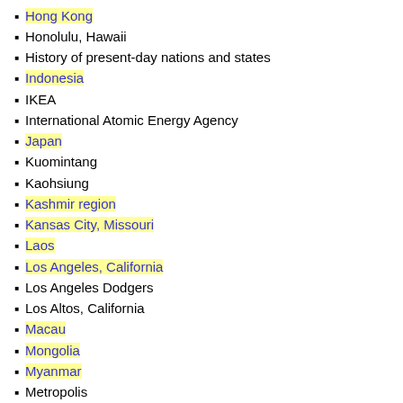Hong Kong
Honolulu, Hawaii
History of present-day nations and states
Indonesia
IKEA
International Atomic Energy Agency
Japan
Kuomintang
Kaohsiung
Kashmir region
Kansas City, Missouri
Laos
Los Angeles, California
Los Angeles Dodgers
Los Altos, California
Macau
Mongolia
Myanmar
Metropolis
North Korea
NASA
NTSC